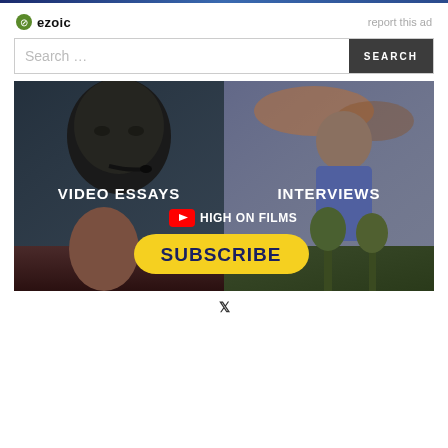[Figure (screenshot): Top navigation bar with dark blue gradient stripe]
[Figure (logo): Ezoic logo with green circle icon and bold text 'ezoic', plus 'report this ad' link on the right]
Search …
[Figure (screenshot): YouTube channel promo image for 'High on Films' showing VIDEO ESSAYS and INTERVIEWS sections with a SUBSCRIBE button]
X